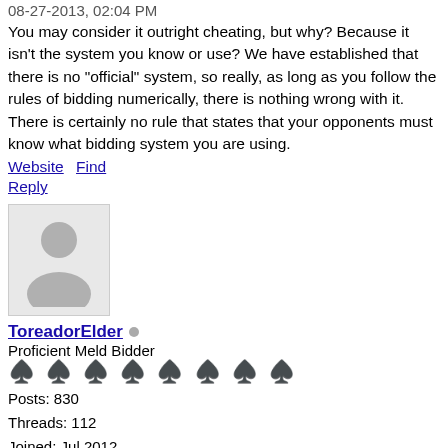08-27-2013, 02:04 PM
You may consider it outright cheating, but why? Because it isn't the system you know or use? We have established that there is no "official" system, so really, as long as you follow the rules of bidding numerically, there is nothing wrong with it. There is certainly no rule that states that your opponents must know what bidding system you are using.
Website Find
Reply
[Figure (photo): Avatar silhouette image - grey person placeholder icon]
ToreadorElder (online indicator dot)
Proficient Meld Bidder
♠ ♠ ♠ ♠ ♠ ♠ ♠ ♠ (8 spade symbols)
Posts: 830
Threads: 112
Joined: Jul 2012
Reputation: 80
#6
08-27-2013, 02:50 PM
No. It's cheating to use a private system and not inform the opponents. The point that you make, that there's no official system, is largely true, and it's not like the kind of 'coded' bidding